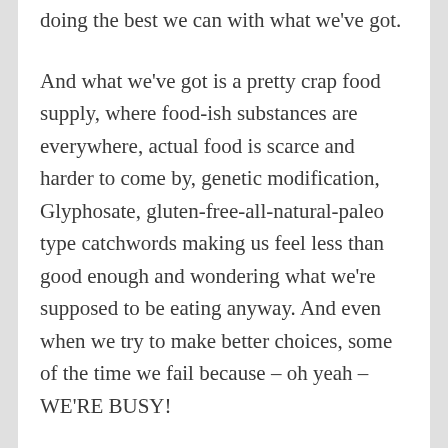doing the best we can with what we've got.
And what we've got is a pretty crap food supply, where food-ish substances are everywhere, actual food is scarce and harder to come by, genetic modification, Glyphosate, gluten-free-all-natural-paleo type catchwords making us feel less than good enough and wondering what we're supposed to be eating anyway. And even when we try to make better choices, some of the time we fail because – oh yeah – WE'RE BUSY!
The thing is, food CAN make a huge difference to the way you take care of you. The trick is to forgive